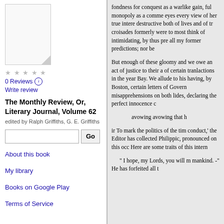[Figure (illustration): Book cover thumbnail placeholder with folded corner]
0 Reviews
Write review
The Monthly Review, Or, Literary Journal, Volume 62
edited by Ralph Griffiths, G. E. Griffiths
About this book
My library
Books on Google Play
Terms of Service
fondness for conquest as a warlike gain, ful monopoly as a commercial eyes every view of her true intere destructive both of lives and of tr croisades formerly were to most think of intimidating, by thus pre all my former predictions; nor be

But enough of these gloomy and we owe an act of justice to their a of certain tranlactions in the year Bay. We allude to his having, by Boston, certain letters of Govern misapprehensions on both lides, declaring the perfect innocence of

avowing avowing that he

ir To mark the politics of the tim conduct,' the Editor has collected Philippic, pronounced on this occ Here are some traits of this intern

" I hope, my Lords, you will m mankind. -" He has forfeited all t